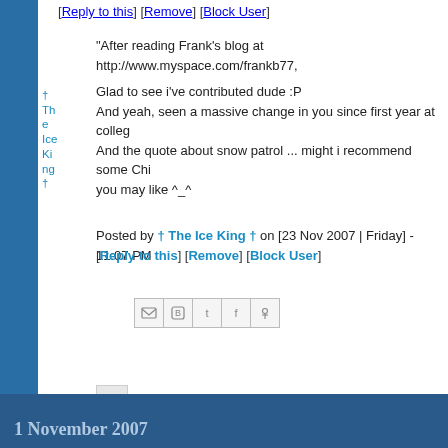[Reply to this] [Remove] [Block User]
† The Ice King †
Frank Burtenshaw
"After reading Frank's blog at http://www.myspace.com/frankb77,
Glad to see i've contributed dude :P
And yeah, seen a massive change in you since first year at colle
And the quote about snow patrol ... might i recommend some Chi
you may like ^_^
Posted by † The Ice King † on [23 Nov 2007 | Friday] - 11:07 PM
[Reply to this] [Remove] [Block User]
1 November 2007